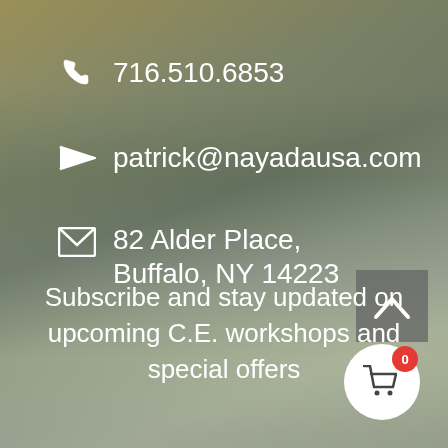716.510.6853
patrick@nayadausa.com
82 Alder Place, Buffalo, NY 14223
[Figure (screenshot): Scroll-to-top button with upward caret arrow on semi-transparent gray background]
Subscribe and stay updated on upcoming C.E. workshops and special offers
[Figure (other): White circular cart button with red badge showing 0, and shopping cart icon]